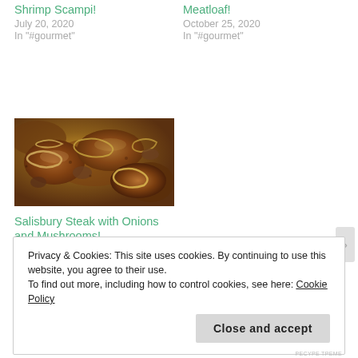Shrimp Scampi!
July 20, 2020
In "#gourmet"
Meatloaf!
October 25, 2020
In "#gourmet"
[Figure (photo): Close-up photo of Salisbury steak with onions and mushrooms, browned meat patties with caramelized onions visible]
Salisbury Steak with Onions and Mushrooms!
January 29, 2021
In "delicious"
Privacy & Cookies: This site uses cookies. By continuing to use this website, you agree to their use.
To find out more, including how to control cookies, see here: Cookie Policy
Close and accept